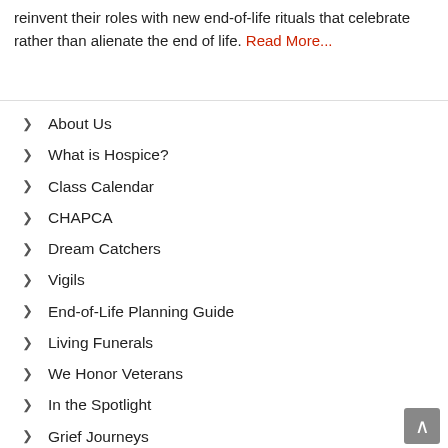reinvent their roles with new end-of-life rituals that celebrate rather than alienate the end of life. Read More...
About Us
What is Hospice?
Class Calendar
CHAPCA
Dream Catchers
Vigils
End-of-Life Planning Guide
Living Funerals
We Honor Veterans
In the Spotlight
Grief Journeys
In the News
Contact Us